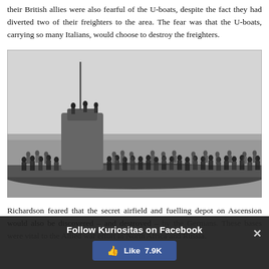their British allies were also fearful of the U-boats, despite the fact they had diverted two of their freighters to the area. The fear was that the U-boats, carrying so many Italians, would choose to destroy the freighters.
[Figure (photo): Black and white historical photograph showing a large crowd of people standing on the deck of a submarine at sea.]
Richardson feared that the secret airfield and fuelling depot on Ascension would also be discovered – and destroyed – by the Germans. These bases were vital to the Allied war effort in North Africa and Russia.
Follow Kuriositas on Facebook  Like 7.9K